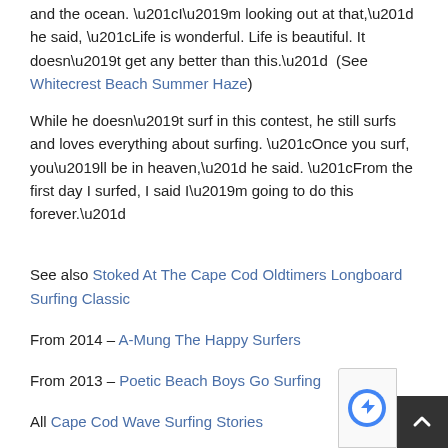and the ocean. “I’m looking out at that,” he said, “Life is wonderful. Life is beautiful. It doesn’t get any better than this.”  (See Whitecrest Beach Summer Haze)
While he doesn’t surf in this contest, he still surfs and loves everything about surfing. “Once you surf, you’ll be in heaven,” he said. “From the first day I surfed, I said I’m going to do this forever.”
See also Stoked At The Cape Cod Oldtimers Longboard Surfing Classic
From 2014 – A-Mung The Happy Surfers
From 2013 – Poetic Beach Boys Go Surfing
All Cape Cod Wave Surfing Stories